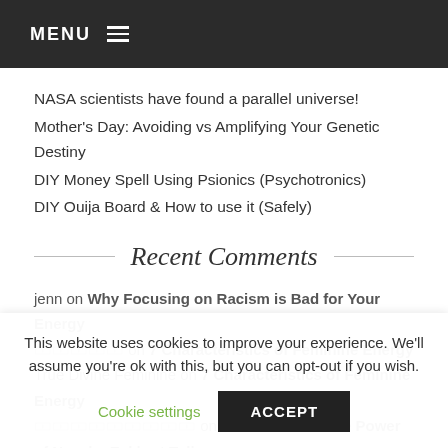MENU
NASA scientists have found a parallel universe!
Mother's Day: Avoiding vs Amplifying Your Genetic Destiny
DIY Money Spell Using Psionics (Psychotronics)
DIY Ouija Board & How to use it (Safely)
Recent Comments
jenn on Why Focusing on Racism is Bad for Your Energy
[emoji] on 7 Characteristics of Feminine Energy
True Divine Feminine on 7 Characteristics of Feminine Energy
[emoji] on A Good Read: The Power of Now by Eckhart Tolle
[emoji] on 7 Characteristics of Feminine Energy
This website uses cookies to improve your experience. We'll assume you're ok with this, but you can opt-out if you wish.
Cookie settings  ACCEPT